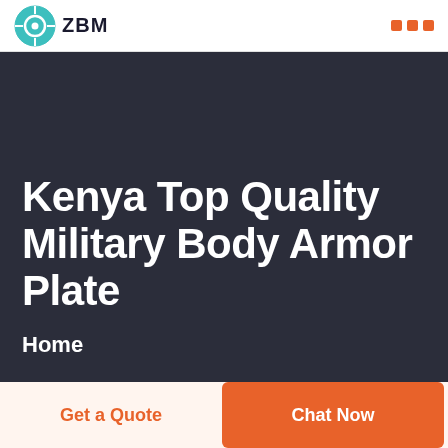ZBM
Kenya Top Quality Military Body Armor Plate
Home
Get a Quote
Chat Now